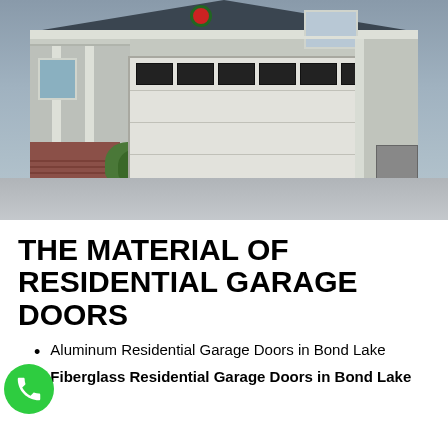[Figure (photo): Exterior photo of a suburban house with a white sectional garage door featuring dark rectangular windows along the top panel, porch with columns visible on the left, brick garden wall, and gray driveway in front.]
THE MATERIAL OF RESIDENTIAL GARAGE DOORS
Aluminum Residential Garage Doors in Bond Lake
Fiberglass Residential Garage Doors in Bond Lake